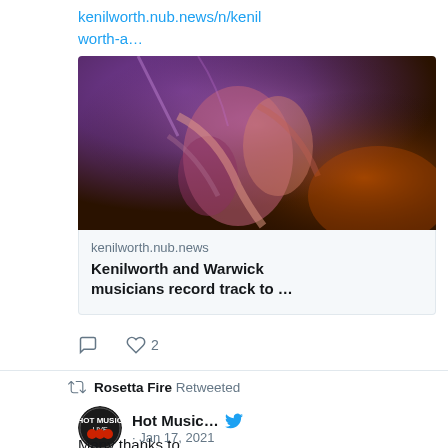kenilworth.nub.news/n/kenilworth-a…
[Figure (photo): Close-up photo of a musician playing guitar under purple stage lighting]
kenilworth.nub.news
Kenilworth and Warwick musicians record track to …
♡ 2
Rosetta Fire Retweeted
Hot Music… · Jan 17, 2021
Many thanks to